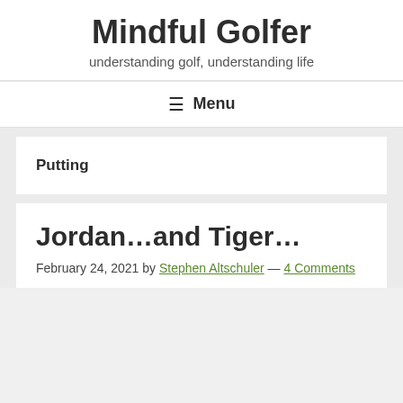Mindful Golfer
understanding golf, understanding life
≡ Menu
Putting
Jordan…and Tiger…
February 24, 2021 by Stephen Altschuler — 4 Comments